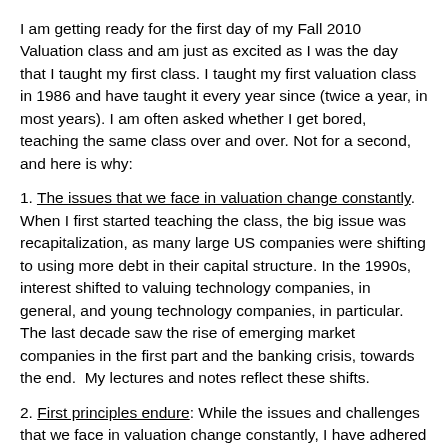I am getting ready for the first day of my Fall 2010 Valuation class and am just as excited as I was the day that I taught my first class. I taught my first valuation class in 1986 and have taught it every year since (twice a year, in most years). I am often asked whether I get bored, teaching the same class over and over. Not for a second, and here is why:
1. The issues that we face in valuation change constantly. When I first started teaching the class, the big issue was recapitalization, as many large US companies were shifting to using more debt in their capital structure. In the 1990s, interest shifted to valuing technology companies, in general, and young technology companies, in particular. The last decade saw the rise of emerging market companies in the first part and the banking crisis, towards the end.  My lectures and notes reflect these shifts.
2. First principles endure: While the issues and challenges that we face in valuation change constantly, I have adhered to the same first principles over time. In fact, it is these first principles of valuation that I return to, at times of uncertainty and it is these first principles that ultimately determine if...